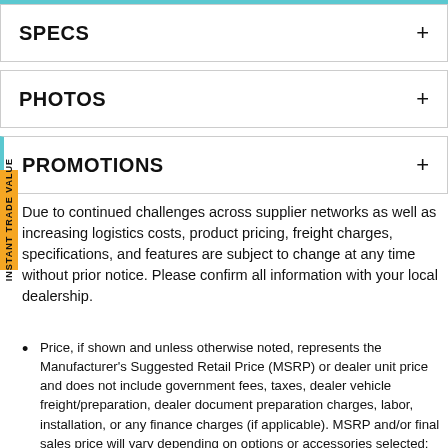SPECS +
PHOTOS +
PROMOTIONS +
Due to continued challenges across supplier networks as well as increasing logistics costs, product pricing, freight charges, specifications, and features are subject to change at any time without prior notice. Please confirm all information with your local dealership.
Price, if shown and unless otherwise noted, represents the Manufacturer's Suggested Retail Price (MSRP) or dealer unit price and does not include government fees, taxes, dealer vehicle freight/preparation, dealer document preparation charges, labor, installation, or any finance charges (if applicable). MSRP and/or final sales price will vary depending on options or accessories selected; contact dealer for more details.